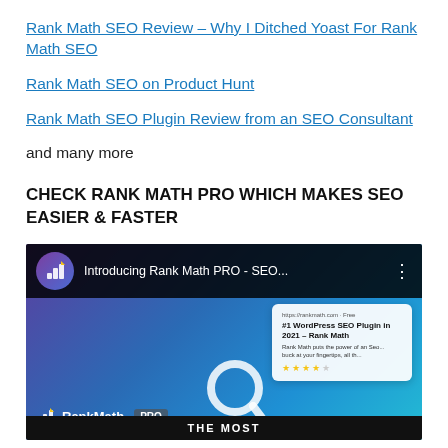Rank Math SEO Review – Why I Ditched Yoast For Rank Math SEO
Rank Math SEO on Product Hunt
Rank Math SEO Plugin Review from an SEO Consultant
and many more
CHECK RANK MATH PRO WHICH MAKES SEO EASIER & FASTER
[Figure (screenshot): YouTube video thumbnail for 'Introducing Rank Math PRO - SEO...' showing the Rank Math logo, a search icon, and a card with '#1 WordPress SEO Plugin in 2021 – Rank Math' text on a purple-to-blue gradient background.]